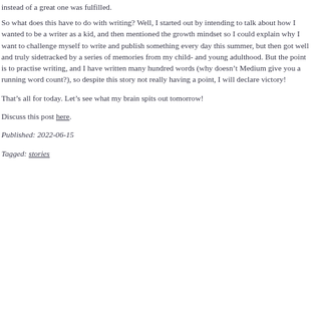instead of a great one was fulfilled.
So what does this have to do with writing? Well, I started out by intending to talk about how I wanted to be a writer as a kid, and then mentioned the growth mindset so I could explain why I want to challenge myself to write and publish something every day this summer, but then got well and truly sidetracked by a series of memories from my child- and young adulthood. But the point is to practise writing, and I have written many hundred words (why doesn’t Medium give you a running word count?), so despite this story not really having a point, I will declare victory!
That’s all for today. Let’s see what my brain spits out tomorrow!
Discuss this post here.
Published: 2022-06-15
Tagged: stories